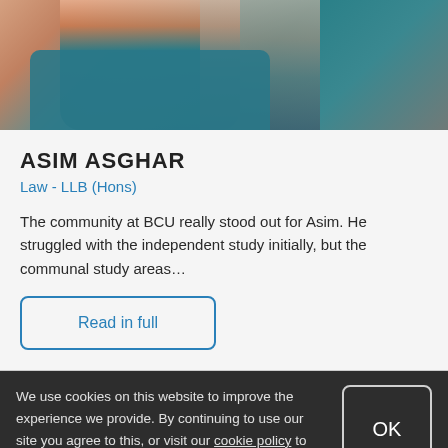[Figure (photo): Photo of a young man wearing a teal/blue shirt, cropped showing upper body and shoulders, outdoor setting]
ASIM ASGHAR
Law - LLB (Hons)
The community at BCU really stood out for Asim. He struggled with the independent study initially, but the communal study areas…
Read in full
We use cookies on this website to improve the experience we provide. By continuing to use our site you agree to this, or visit our cookie policy to manage your settings.